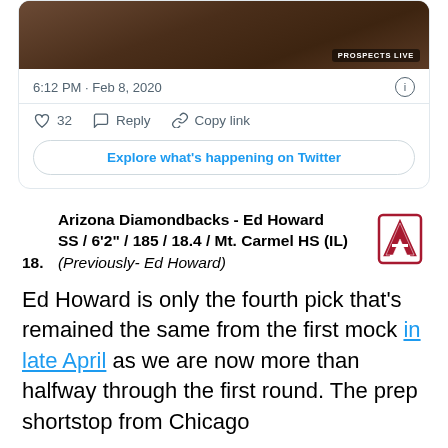[Figure (screenshot): Screenshot of a tweet showing a baseball field image with PROSPECTS LIVE watermark, timestamp 6:12 PM · Feb 8, 2020, with 32 likes, Reply and Copy link actions, and an Explore what's happening on Twitter button]
18.    Arizona Diamondbacks - Ed Howard
       SS / 6'2" / 185 / 18.4 / Mt. Carmel HS (IL)
       (Previously- Ed Howard)
Ed Howard is only the fourth pick that's remained the same from the first mock in late April as we are now more than halfway through the first round. The prep shortstop from Chicago